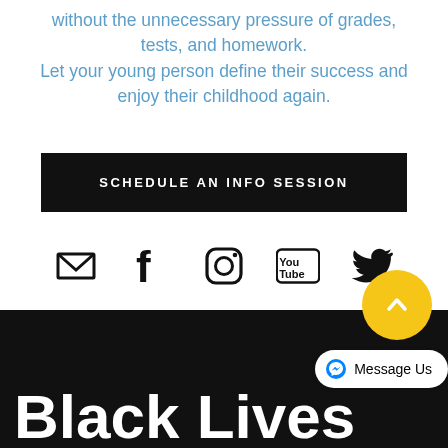without the unnecessary pressure of grades, tests, and homework. Let your young person define their success and enjoy their childhood again.
SCHEDULE AN INFO SESSION
[Figure (infographic): Social media icons: email/envelope, Facebook, Instagram, YouTube, Twitter in a row]
Black Lives